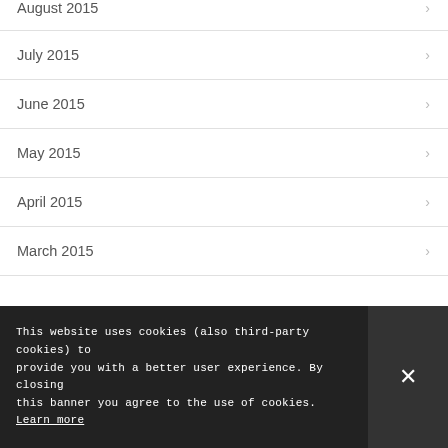August 2015
July 2015
June 2015
May 2015
April 2015
March 2015
February 2015
This website uses cookies to improve your experience. We'll
This website uses cookies (also third-party cookies) to provide you with a better user experience. By closing this banner you agree to the use of cookies. Learn more